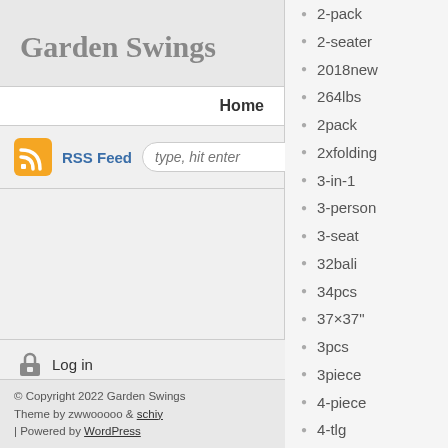Garden Swings
Home
RSS Feed  type, hit enter
Log in
© Copyright 2022 Garden Swings
Theme by zwwooooo & schiy
| Powered by WordPress
2-pack
2-seater
2018new
264lbs
2pack
2xfolding
3-in-1
3-person
3-seat
32bali
34pcs
37×37"
3pcs
3piece
4-piece
4-tlg
42"
44wooden
47ft
5-piece
5pcs